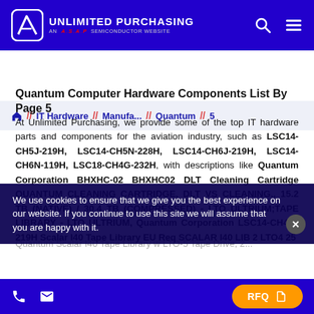UNLIMITED PURCHASING — AN A.S.A.P SEMICONDUCTOR WEBSITE
🏠 // IT Hardware // Manufa... // Quantum // 5
Quantum Computer Hardware Components List By Page 5
At Unlimited Purchasing, we provide some of the top IT hardware parts and components for the aviation industry, such as LSC14-CH5J-219H, LSC14-CH5N-228H, LSC14-CH6J-219H, LSC14-CH6N-119H, LSC18-CH4G-232H, with descriptions like Quantum Corporation BHXHC-02 BHXHC02 DLT Cleaning Cartridge QUANTUM CLEANING CARTRIDGE, DLT VS CLEANING., 15.2 TB (NATIVE) / 30.4 TB (COMPRESSED) - LTO ULTRIUM;TAPE LIBRARY - LTO ULTRIUM, Quantum Corporation LSC14-CH4G-219H Scalar I40 Tape Library EU Req SCALAR I40 LIB 2 LTO4 25...
We use cookies to ensure that we give you the best experience on our website. If you continue to use this site we will assume that you are happy with it.
RFQ